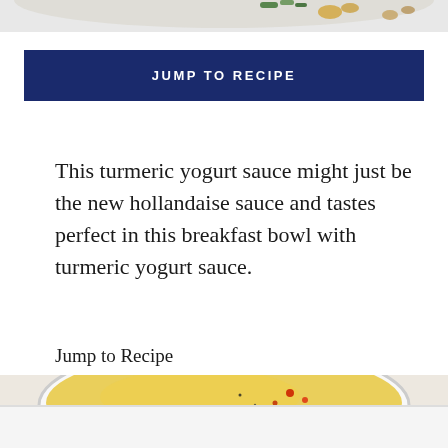[Figure (photo): Top portion of a food photo showing a plate with vegetables, pistachios, and ginger on a light background]
JUMP TO RECIPE
This turmeric yogurt sauce might just be the new hollandaise sauce and tastes perfect in this breakfast bowl with turmeric yogurt sauce.
Jump to Recipe
[Figure (photo): Top portion of a bowl containing yellow turmeric yogurt sauce with red spice garnish, on a marble surface]
[Figure (photo): Bottom partial photo, white background, beginning of another food image]